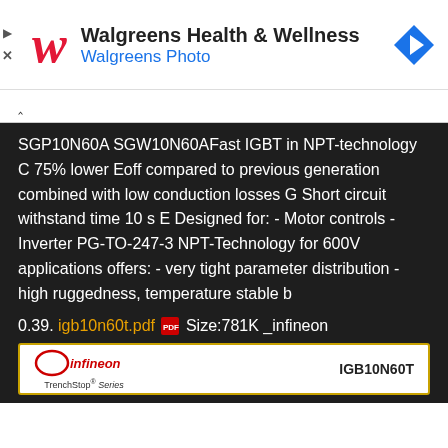[Figure (screenshot): Walgreens Health & Wellness advertisement banner with Walgreens logo, subtitle 'Walgreens Photo', and navigation icon]
SGP10N60A SGW10N60AFast IGBT in NPT-technology C 75% lower Eoff compared to previous generation combined with low conduction losses G Short circuit withstand time 10 s E Designed for: - Motor controls - Inverter PG-TO-247-3 NPT-Technology for 600V applications offers: - very tight parameter distribution - high ruggedness, temperature stable b
0.39. igb10n60t.pdf Size:781K _infineon
[Figure (screenshot): Infineon IGB10N60T TrenchStop Series product card with Infineon logo and part number]